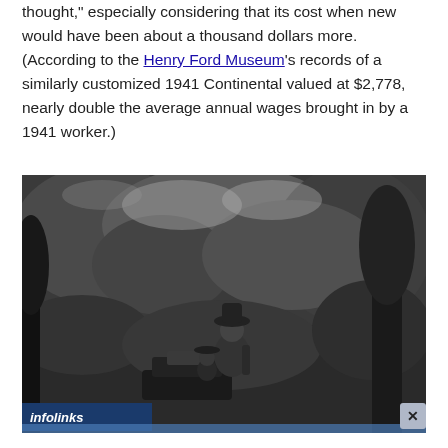thought," especially considering that its cost when new would have been about a thousand dollars more. (According to the Henry Ford Museum's records of a similarly customized 1941 Continental valued at $2,778, nearly double the average annual wages brought in by a 1941 worker.)
[Figure (photo): Black and white photograph showing a person wearing a hat, appearing to be in or near an open-top vehicle, with dense foliage and trees in the background. An 'infolinks' watermark bar appears at the bottom left of the image, and a close button (x) at the bottom right.]